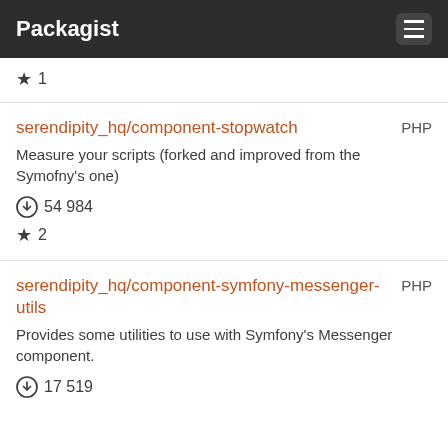Packagist
★ 1
serendipity_hq/component-stopwatch PHP
Measure your scripts (forked and improved from the Symofny's one)
⬇ 54984
★ 2
serendipity_hq/component-symfony-messenger-utils PHP
Provides some utilities to use with Symfony's Messenger component.
⬇ 17519